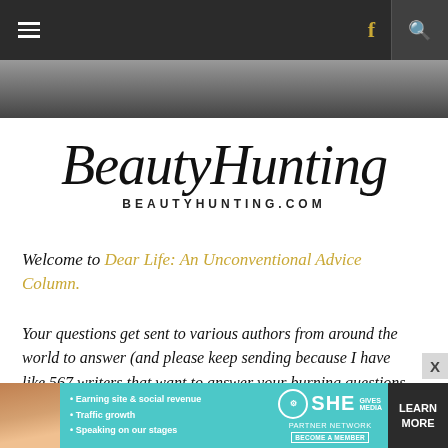Navigation bar with hamburger menu, Facebook icon, and search icon
[Figure (photo): Partial black and white photograph visible as a strip behind the header]
BeautyHunting
BEAUTYHUNTING.COM
Welcome to Dear Life: An Unconventional Advice Column.
Your questions get sent to various authors from around the world to answer (and please keep sending because I have like 567 writers that want to answer your burning questions. Click here to  Email dearlife@jenniferpastiloff.com
[Figure (infographic): SHE Partner Network advertisement banner with woman photo, bullet points: Earning site & social revenue, Traffic growth, Speaking on our stages, SHE logo, BECOME A MEMBER, LEARN MORE button]